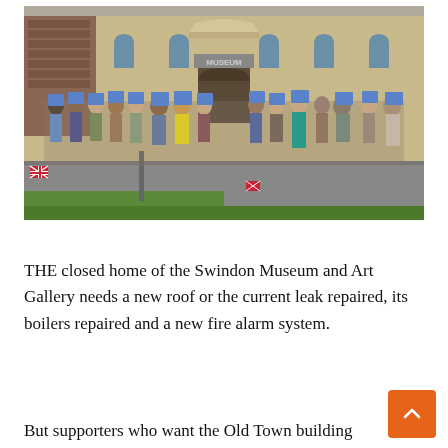[Figure (photo): A large crowd of protesters standing outside the Swindon Museum building, many holding blue signs/placards. Union Jack flags visible. The stone building has arched windows and a sign reading MUSEUM above the entrance.]
THE closed home of the Swindon Museum and Art Gallery needs a new roof or the current leak repaired, its boilers repaired and a new fire alarm system.
But supporters who want the Old Town building